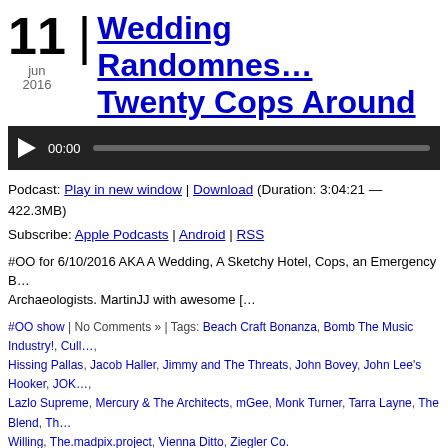11 jun 2016 | Wedding Randomnes… Twenty Cops Around
[Figure (screenshot): Audio player bar with play button, 00:00 timestamp and progress bar on dark background]
Podcast: Play in new window | Download (Duration: 3:04:21 — 422.3MB)
Subscribe: Apple Podcasts | Android | RSS
#OO for 6/10/2016 AKA A Wedding, A Sketchy Hotel, Cops, an Emergency B… Archaeologists. MartinJJ with awesome [&hellip
#OO show | No Comments » | Tags: Beach Craft Bonanza, Bomb The Music Industry!, Cull…, Hissing Pallas, Jacob Haller, Jimmy and The Threats, John Bovey, John Lee's Hooker, JOK…, Lazlo Supreme, Mercury & The Architects, mGee, Monk Turner, Tarra Layne, The Blend, Th… Willing, The.madpix.project, Vienna Ditto, Ziegler Co.
25 apr | Did you see that Fl…